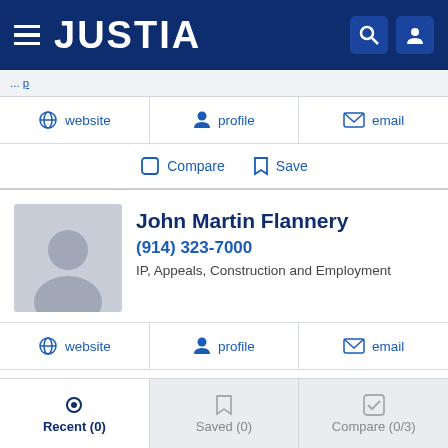JUSTIA
website   profile   email
Compare   Save
John Martin Flannery
(914) 323-7000
IP, Appeals, Construction and Employment
website   profile   email
Compare   Save
Danielle Pennetta
Recent (0)   Saved (0)   Compare (0/3)